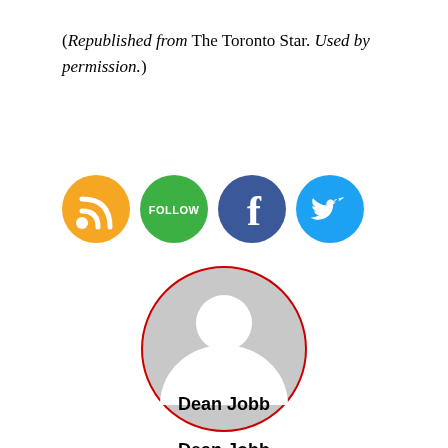(Republished from The Toronto Star. Used by permission.)
[Figure (illustration): Four social media icon buttons: RSS (orange), Follow (green), Facebook (dark blue), Twitter (light blue)]
[Figure (photo): Default user avatar: a gray silhouette of a person inside a circle with a red border]
Dean Jobb